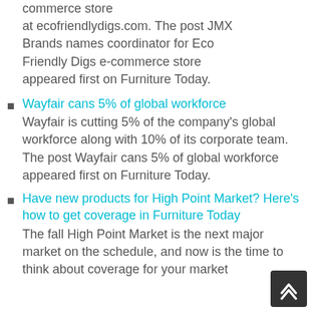commerce store at ecofriendlydigs.com. The post JMX Brands names coordinator for Eco Friendly Digs e-commerce store appeared first on Furniture Today.
Wayfair cans 5% of global workforce — Wayfair is cutting 5% of the company's global workforce along with 10% of its corporate team. The post Wayfair cans 5% of global workforce appeared first on Furniture Today.
Have new products for High Point Market? Here's how to get coverage in Furniture Today — The fall High Point Market is the next major market on the schedule, and now is the time to think about coverage for your market